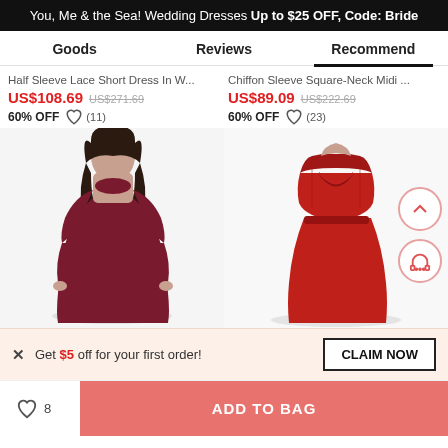You, Me & the Sea! Wedding Dresses Up to $25 OFF, Code: Bride
Goods | Reviews | Recommend
Half Sleeve Lace Short Dress In W... US$108.69 US$271.69 60% OFF (11)
Chiffon Sleeve Square-Neck Midi ... US$89.09 US$222.69 60% OFF (23)
[Figure (photo): Model wearing a dark burgundy long-sleeve fitted dress]
[Figure (photo): Red sleeveless square-neck midi dress torso view]
× Get $5 off for your first order! CLAIM NOW
♡ 8   ADD TO BAG